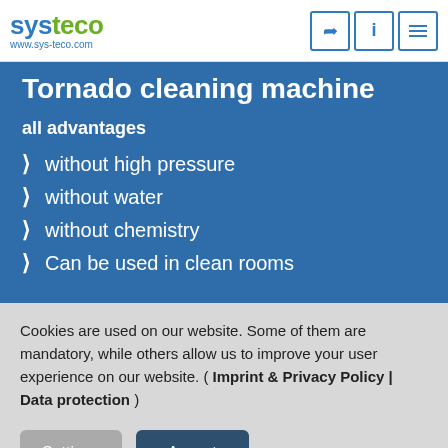systeco www.sys-teco.com
Tornado cleaning machine
all advantages
without high pressure
without water
without chemistry
Can be used in clean rooms
Cookies are used on our website. Some of them are mandatory, while others allow us to improve your user experience on our website. ( Imprint & Privacy Policy | Data protection )